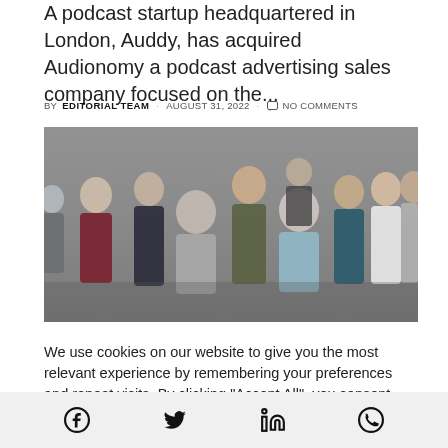A podcast startup headquartered in London, Auddy, has acquired Audionomy a podcast advertising sales company focused on the...
BY EDITORIAL TEAM · AUGUST 31, 2022 · NO COMMENTS
[Figure (photo): Group photo of approximately 9 people standing/sitting together in front of a grey background, in a dimly lit indoor setting.]
We use cookies on our website to give you the most relevant experience by remembering your preferences and repeat visits. By clicking "Accept All", you consent to the use of ALL the cookies. However, you may visit "Cookie Settings" to provide a controlled consent.
Facebook Twitter LinkedIn WhatsApp social share icons